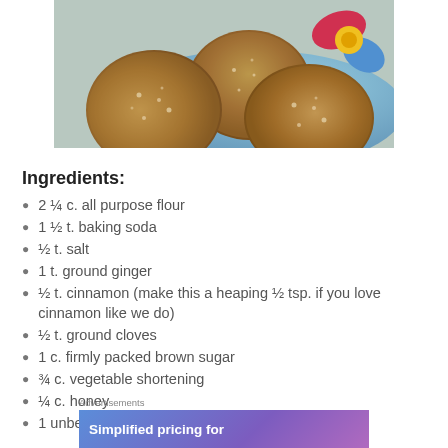[Figure (photo): Close-up photo of sugar-dusted round cookies on a decorative floral plate]
Ingredients:
2 ¼ c. all purpose flour
1 ½ t. baking soda
½ t. salt
1 t. ground ginger
½ t. cinnamon (make this a heaping ½ tsp. if you love cinnamon like we do)
½ t. ground cloves
1 c. firmly packed brown sugar
¾ c. vegetable shortening
¼ c. honey
1 unbeaten egg
[Figure (screenshot): Advertisement banner: Simplified pricing for]